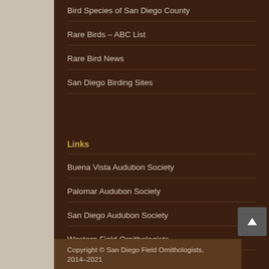Rare Birds – ABC List
Rare Bird News
San Diego Birding Sites
Links
Buena Vista Audubon Society
Palomar Audubon Society
San Diego Audubon Society
Western Field Ornithologists
Copyright © San Diego Field Ornithologists, 2014–2021